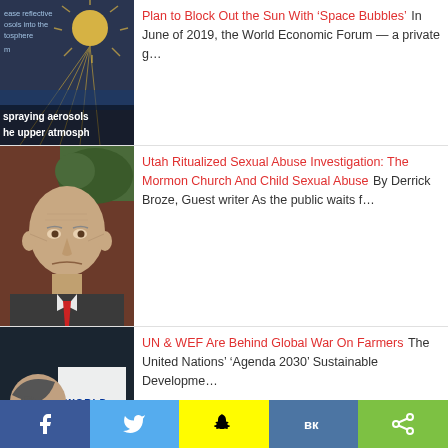[Figure (screenshot): Thumbnail showing aerosol spraying diagram with dark blue sky background, text overlay reading 'spraying aerosols' and 'he upper atmosph']
Plan to Block Out the Sun With 'Space Bubbles' In June of 2019, the World Economic Forum — a private g…
[Figure (photo): Elderly bald man in suit with red tie, serious expression, against a red/brown background]
Utah Ritualized Sexual Abuse Investigation: The Mormon Church And Child Sexual Abuse By Derrick Broze, Guest writer As the public waits f…
[Figure (photo): Man in profile wearing glasses, hand on chin, with World Economic Forum sign in background]
UN & WEF Are Behind Global War On Farmers The United Nations' 'Agenda 2030' Sustainable Developme…